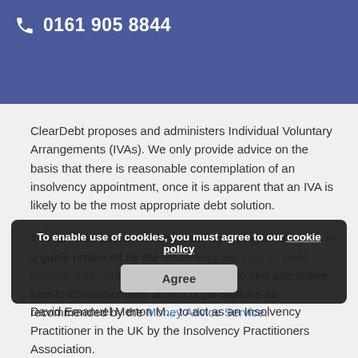0161 905 8844
ClearDebt proposes and administers Individual Voluntary Arrangements (IVAs). We only provide advice on the basis that there is reasonable contemplation of an insolvency appointment, once it is apparent that an IVA is likely to be the most appropriate debt solution.
You can find out more about dealing with your creditors in a guide produced by the Insolvency Service: In Debt – Dealing with your creditors. You can also find alternative free-to-consumer debt advice organisations as recommended by the Money Advice Service.
To enable use of cookies, you must agree to our cookie policy
David Emanuel Merton M... to act as an Insolvency Practitioner in the UK by the Insolvency Practitioners Association.